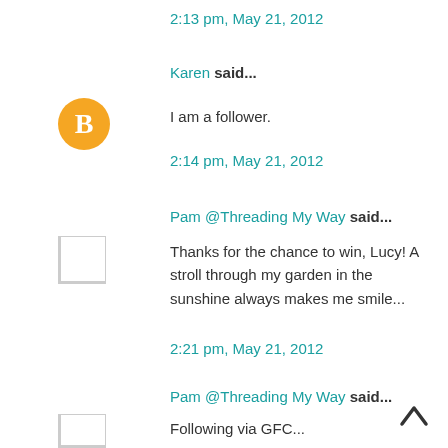2:13 pm, May 21, 2012
Karen said...
[Figure (logo): Orange circle with white blogger 'B' icon avatar]
I am a follower.
2:14 pm, May 21, 2012
Pam @Threading My Way said...
[Figure (other): Small gray placeholder avatar square with border]
Thanks for the chance to win, Lucy! A stroll through my garden in the sunshine always makes me smile...
2:21 pm, May 21, 2012
Pam @Threading My Way said...
[Figure (other): Small gray placeholder avatar square with border]
Following via GFC...
2:21 pm, May 21, 2012